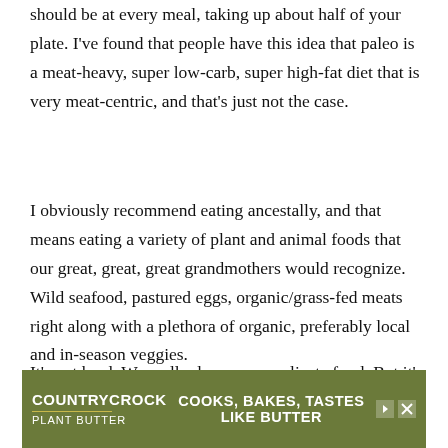You guys. Let's talk about the importance of veggies. They really should be at every meal, taking up about half of your plate. I've found that people have this idea that paleo is a meat-heavy, super low-carb, super high-fat diet that is very meat-centric, and that's just not the case.
I obviously recommend eating ancestally, and that means eating a variety of plant and animal foods that our great, great, great grandmothers would recognize. Wild seafood, pastured eggs, organic/grass-fed meats right along with a plethora of organic, preferably local and in-season veggies.
It's not hard. We really do over-complicate food. But it's incredi...
[Figure (other): Advertisement banner for Country Crock Plant Butter with tagline 'COOKS, BAKES, TASTES LIKE BUTTER' on an olive green background]